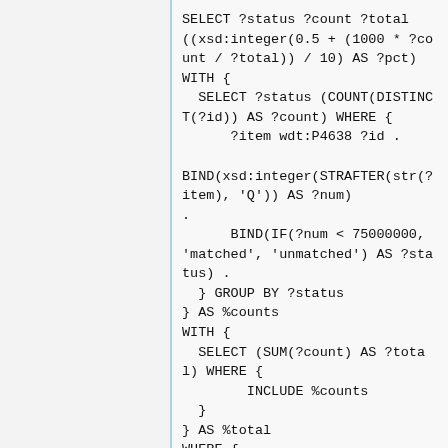SELECT ?status ?count ?total ((xsd:integer(0.5 + (1000 * ?count / ?total)) / 10) AS ?pct)
WITH {
  SELECT ?status (COUNT(DISTINCT(?id)) AS ?count) WHERE {
      ?item wdt:P4638 ?id .

BIND(xsd:integer(STRAFTER(str(?item), 'Q')) AS ?num)
.
      BIND(IF(?num < 75000000, 'matched', 'unmatched') AS ?status) .
  } GROUP BY ?status
} AS %counts
WITH {
  SELECT (SUM(?count) AS ?total) WHERE {
        INCLUDE %counts
  }
} AS %total
WHERE {